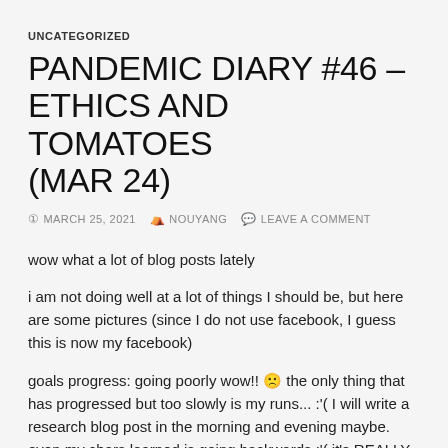UNCATEGORIZED
PANDEMIC DIARY #46 – ETHICS AND TOMATOES (MAR 24)
© MARCH 25, 2021   & NOUYANG   💬 LEAVE A COMMENT
wow what a lot of blog posts lately
i am not doing well at a lot of things I should be, but here are some pictures (since I do not use facebook, I guess this is now my facebook)
goals progress: going poorly wow!! 🙁 the only thing that has progressed but too slowly is my runs... :'( I will write a research blog post in the morning and evening maybe. even my chars learned is going backwards :'( it's REALLY rough going now, I think the last 4 balance categories is just absolutely nailing it.